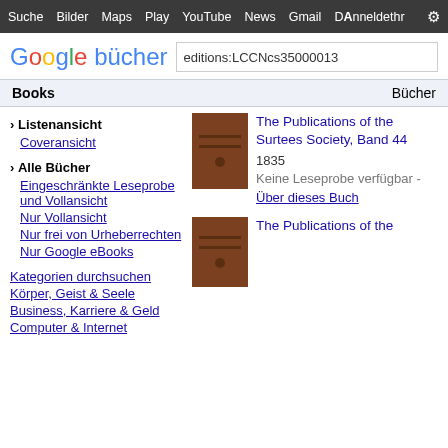Suche Bilder Maps Play YouTube News Gmail Mehr Anmelden
[Figure (logo): Google Bücher logo with search box containing 'editions:LCCNcs35000013']
Books    Bücher
› Listenansicht
Coveransicht
› Alle Bücher
Eingeschränkte Leseprobe und Vollansicht
Nur Vollansicht
Nur frei von Urheberrechten
Nur Google eBooks
Kategorien durchsuchen
Körper, Geist & Seele
Business, Karriere & Geld
Computer & Internet
[Figure (illustration): Brown book cover for The Publications of the Surtees Society, Band 44]
The Publications of the Surtees Society, Band 44
1835
Keine Leseprobe verfügbar - Über dieses Buch
[Figure (illustration): Brown book cover for The Publications of the Surtees Society (second entry)]
The Publications of the